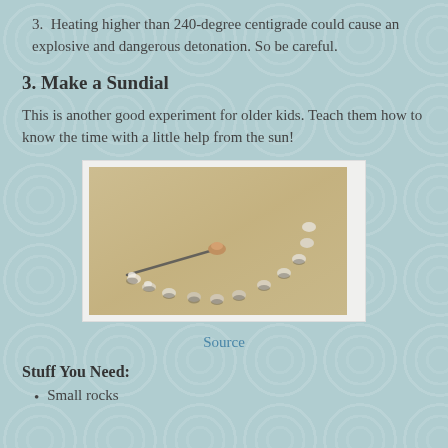3. Heating higher than 240-degree centigrade could cause an explosive and dangerous detonation. So be careful.
3. Make a Sundial
This is another good experiment for older kids. Teach them how to know the time with a little help from the sun!
[Figure (photo): A sundial made from rocks arranged in a semicircle in sand, with a stick casting a shadow to indicate time.]
Source
Stuff You Need:
Small rocks